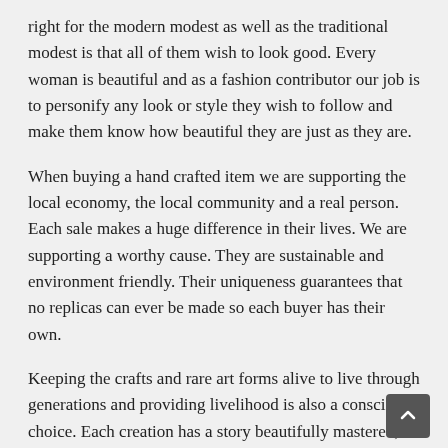right for the modern modest as well as the traditional modest is that all of them wish to look good. Every woman is beautiful and as a fashion contributor our job is to personify any look or style they wish to follow and make them know how beautiful they are just as they are.
When buying a hand crafted item we are supporting the local economy, the local community and a real person. Each sale makes a huge difference in their lives. We are supporting a worthy cause. They are sustainable and environment friendly. Their uniqueness guarantees that no replicas can ever be made so each buyer has their own.
Keeping the crafts and rare art forms alive to live through generations and providing livelihood is also a conscious choice. Each creation has a story beautifully mastered, rendered and a true gift of Art.